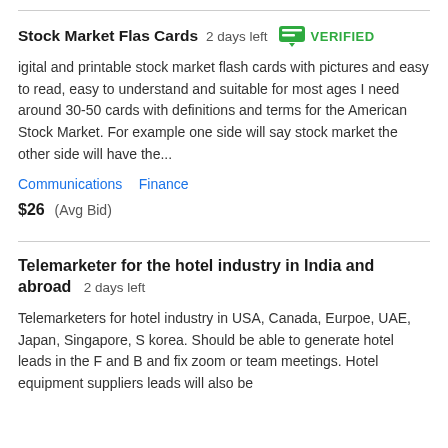Stock Market Flas Cards  2 days left  VERIFIED
igital and printable stock market flash cards with pictures and easy to read, easy to understand and suitable for most ages I need around 30-50 cards with definitions and terms for the American Stock Market. For example one side will say stock market the other side will have the...
Communications   Finance
$26  (Avg Bid)
Telemarketer for the hotel industry in India and abroad  2 days left
Telemarketers for hotel industry in USA, Canada, Eurpoe, UAE, Japan, Singapore, S korea. Should be able to generate hotel leads in the F and B and fix zoom or team meetings. Hotel equipment suppliers leads will also be